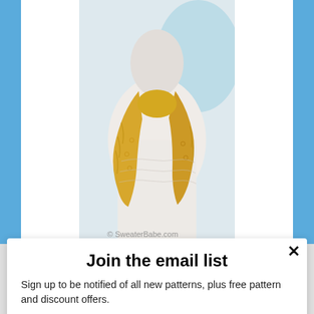[Figure (photo): A mannequin wearing a yellow/gold knitted lace scarf tied loosely at the neck, photographed against a light background. Watermark reads: © SweaterBabe.com]
Join the email list
Sign up to be notified of all new patterns, plus free pattern and discount offers.
Enter your email
Subscribe
powered by MailMunch